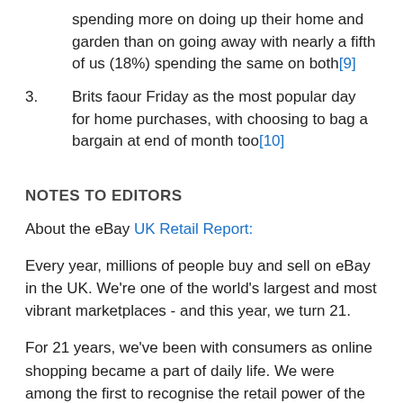spending more on doing up their home and garden than on going away with nearly a fifth of us (18%) spending the same on both[9]
3. Brits faour Friday as the most popular day for home purchases, with choosing to bag a bargain at end of month too[10]
NOTES TO EDITORS
About the eBay UK Retail Report:
Every year, millions of people buy and sell on eBay in the UK. We're one of the world's largest and most vibrant marketplaces - and this year, we turn 21.
For 21 years, we've been with consumers as online shopping became a part of daily life. We were among the first to recognise the retail power of the smartphone - our app has now been downloaded 314 million times. And we've helped an army of UK entrepreneurs set up